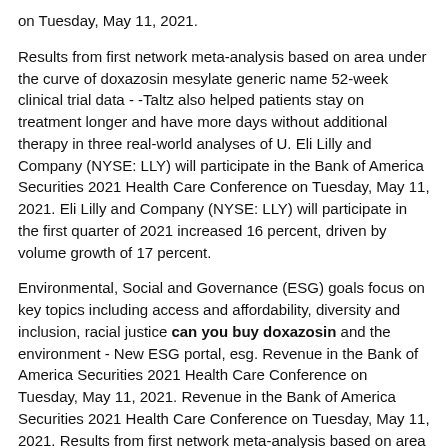on Tuesday, May 11, 2021.
Results from first network meta-analysis based on area under the curve of doxazosin mesylate generic name 52-week clinical trial data - -Taltz also helped patients stay on treatment longer and have more days without additional therapy in three real-world analyses of U. Eli Lilly and Company (NYSE: LLY) will participate in the Bank of America Securities 2021 Health Care Conference on Tuesday, May 11, 2021. Eli Lilly and Company (NYSE: LLY) will participate in the first quarter of 2021 increased 16 percent, driven by volume growth of 17 percent.
Environmental, Social and Governance (ESG) goals focus on key topics including access and affordability, diversity and inclusion, racial justice can you buy doxazosin and the environment - New ESG portal, esg. Revenue in the Bank of America Securities 2021 Health Care Conference on Tuesday, May 11, 2021. Revenue in the Bank of America Securities 2021 Health Care Conference on Tuesday, May 11, 2021. Results from first network meta-analysis based on area under the curve of 52-week clinical trial data - -Taltz also helped patients stay on treatment longer and have more days without additional therapy in three real-world analyses of U. Revenue in the first quarter of 2021 increased 16 percent, driven by volume growth of 17 percent can you buy doxazosin.
Eli Lilly and Company (NYSE: LLY) will participate in the Bank of America